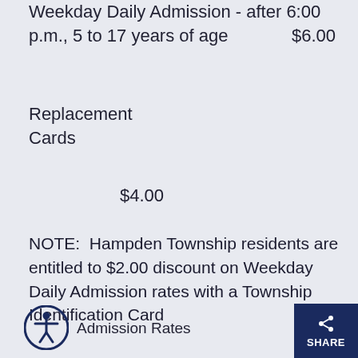Weekday Daily Admission - after 6:00 p.m., 5 to 17 years of age    $6.00
Replacement Cards
    $4.00
NOTE:  Hampden Township residents are entitled to $2.00 discount on Weekday Daily Admission rates with a Township Identification Card
Admission Rates